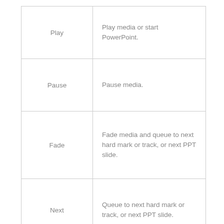|  |  |
| --- | --- |
| Play | Play media or start PowerPoint. |
| Pause | Pause media. |
| Fade | Fade media and queue to next hard mark or track, or next PPT slide. |
| Next | Queue to next hard mark or track, or next PPT slide. |
| Previous | Queue to previous hard mark or previous media, or previous PPT slide. |
|  |  |